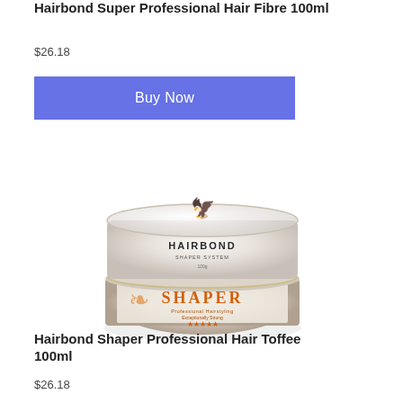Hairbond Super Professional Hair Fibre 100ml
$26.18
Buy Now
[Figure (photo): A round jar of Hairbond Shaper Professional Hair Toffee product with an orange eagle logo on the lid and orange text on the transparent/silver body of the jar.]
Hairbond Shaper Professional Hair Toffee 100ml
$26.18